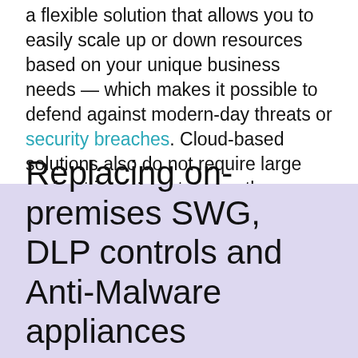a flexible solution that allows you to easily scale up or down resources based on your unique business needs — which makes it possible to defend against modern-day threats or security breaches. Cloud-based solutions also do not require large up-front investments in costly equipment or physical infrastructure, such as load balancers or hardware firewalls.
Replacing on-premises SWG, DLP controls and Anti-Malware appliances